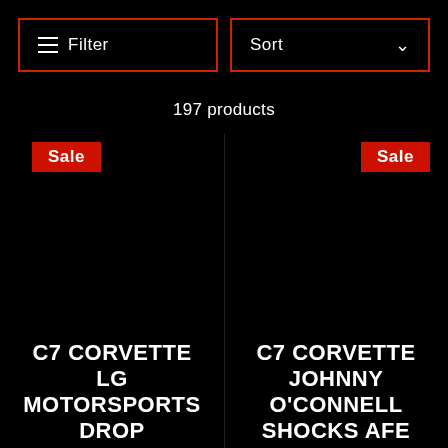[Figure (screenshot): Filter button with red border and filter icon on black background]
[Figure (screenshot): Sort dropdown button with red border and chevron on black background]
197 products
Sale
Sale
C7 CORVETTE LG MOTORSPORTS DROP
C7 CORVETTE JOHNNY O'CONNELL SHOCKS AFE